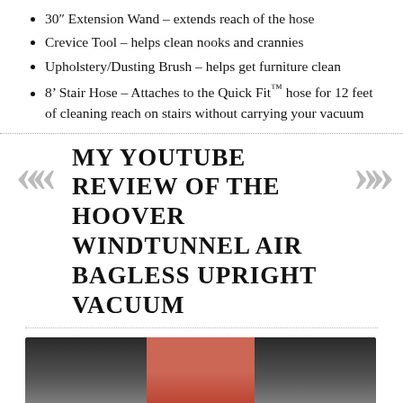30″ Extension Wand – extends reach of the hose
Crevice Tool – helps clean nooks and crannies
Upholstery/Dusting Brush – helps get furniture clean
8' Stair Hose – Attaches to the Quick Fit™ hose for 12 feet of cleaning reach on stairs without carrying your vacuum
MY YOUTUBE REVIEW OF THE HOOVER WINDTUNNEL AIR BAGLESS UPRIGHT VACUUM
[Figure (screenshot): YouTube video thumbnail showing Hoover WindTunnel Air Bagless U... with avatar and video controls bar]